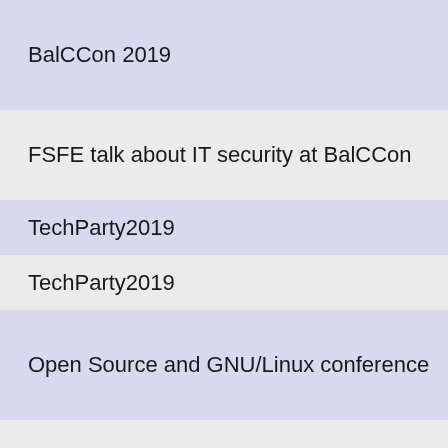BalCCon 2019
FSFE talk about IT security at BalCCon
TechParty2019
TechParty2019
Open Source and GNU/Linux conference
Datenspuren
FSFE Booth and PMPC talk at 17th Kieler Open Source und L